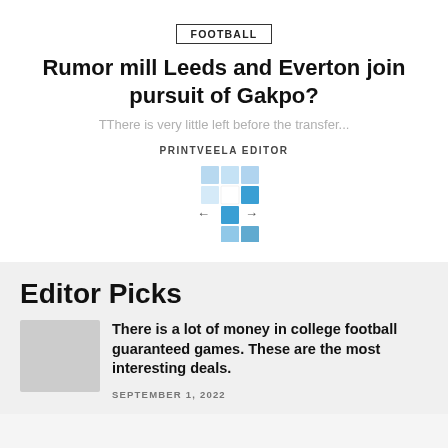FOOTBALL
Rumor mill Leeds and Everton join pursuit of Gakpo?
TThere is very little left before the transfer...
PRINTVEELA EDITOR
[Figure (logo): Blue and white grid/puzzle logo with left and right arrows]
Editor Picks
There is a lot of money in college football guaranteed games. These are the most interesting deals.
SEPTEMBER 1, 2022